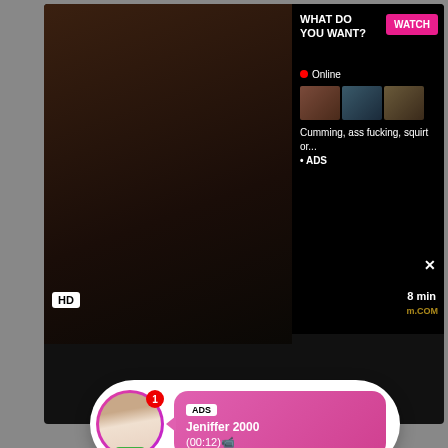[Figure (screenshot): Adult website screenshot showing a video player with HD badge and 8 min duration label, overlaid with an advertisement popup. The ad shows text 'WHAT DO YOU WANT?' with a pink WATCH button, an Online status indicator, thumbnail images, and text 'Cumming, ass fucking, squirt or...' with ADS label and X close button. Below the video is a notification-style ad with a circular profile photo with LIVE badge and notification badge showing 1, and a pink message bubble showing 'ADS Jeniffer 2000 (00:12)'. Partial text visible: 'lesbia...' and '...n, st...' on sides. Bottom portion is dark/black.]